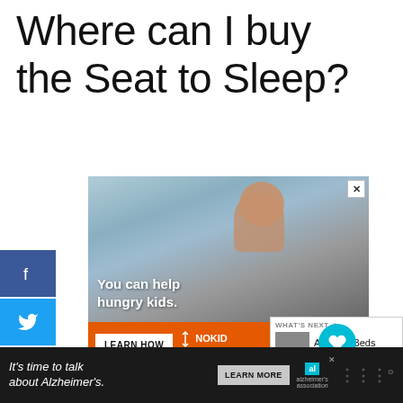Where can I buy the Seat to Sleep?
[Figure (photo): Advertisement showing a young boy eating something, with text 'You can help hungry kids.' and a 'LEARN HOW' button, No Kid Hungry logo, on orange background]
[Figure (screenshot): What's Next panel showing thumbnail and text: 'Airplane Beds for Toddlers:...']
[Figure (infographic): Bottom banner ad: 'It's time to talk about Alzheimer's.' with LEARN MORE button and Alzheimer's Association logo]